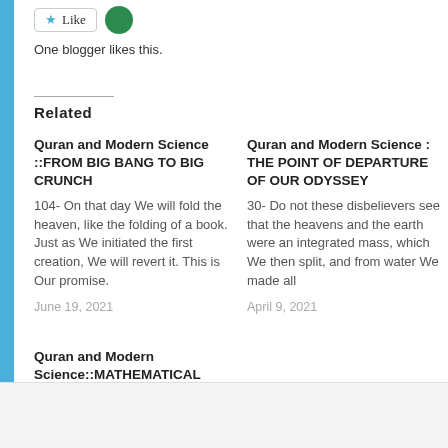One blogger likes this.
Related
Quran and Modern Science ::FROM BIG BANG TO BIG CRUNCH
104- On that day We will fold the heaven, like the folding of a book. Just as We initiated the first creation, We will revert it. This is Our promise.
June 19, 2021
Quran and Modern Science : THE POINT OF DEPARTURE OF OUR ODYSSEY
30- Do not these disbelievers see that the heavens and the earth were an integrated mass, which We then split, and from water We made all
April 9, 2021
Quran and Modern Science::MATHEMATICAL MIRACLES
Advertisements